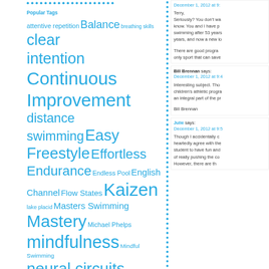Popular Tags
attentive repetition Balance breathing skills clear intention Continuous Improvement distance swimming Easy Freestyle Effortless Endurance Endless Pool English Channel Flow States Kaizen lake placid Masters Swimming Mastery Michael Phelps mindfulness Mindful Swimming neural circuits Olympic Swimming open water swimming Outside the Box Perpetual Motion Freestyle Self Coached
December 1, 2012 at 9:

Terry,
Seriously? You don't wa know. You and I have p swimming after 53 years years, and now a new lo

There are good progra only sport that can save
Bill Brennan says:
December 1, 2012 at 9:4

Interesting subject. Tho children's athletic progra an integral part of the pr

Bill Brennan
Julie says:
December 1, 2012 at 9:5

Though I accidentally c heartedly agree with the student to have fun and of really pushing the co However, there are th